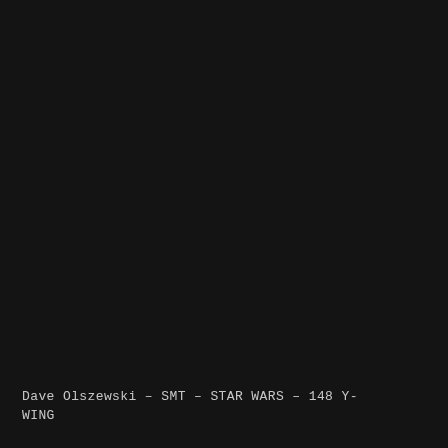[Figure (photo): Nearly full-page black/very dark background image, appearing to show a dimly lit scene that is largely indistinguishable due to the darkness.]
Dave Olszewski – SMT – STAR WARS – 148 Y-WING